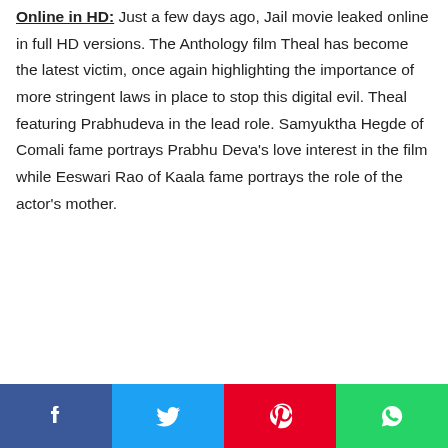Online in HD: Just a few days ago, Jail movie leaked online in full HD versions. The Anthology film Theal has become the latest victim, once again highlighting the importance of more stringent laws in place to stop this digital evil. Theal featuring Prabhudeva in the lead role. Samyuktha Hegde of Comali fame portrays Prabhu Deva's love interest in the film while Eeswari Rao of Kaala fame portrays the role of the actor's mother.
[Figure (other): Social share buttons: Facebook (blue), Twitter (cyan), Pinterest (red), WhatsApp (green)]